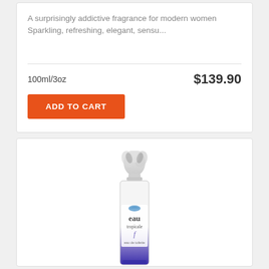A surprisingly addictive fragrance for modern women Sparkling, refreshing, elegant, sensu...
100ml/3oz
$139.90
ADD TO CART
[Figure (photo): Perfume bottle - eau tropicale eau de toilette, clear glass bottle with decorative cap, white to purple gradient body]